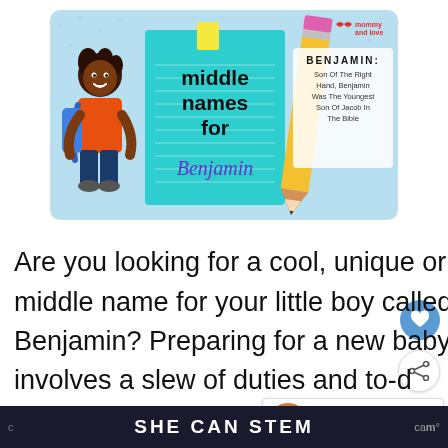[Figure (illustration): Hero banner illustration for 'middle names for Benjamin' article. Shows a cartoon Black boy with backpack on the left, a teal notepad in the center with 'middle names for Benjamin' text, a large pencil on the right, and a text box stating 'BENJAMIN: Son Of The Right Hand, Benjamin Was The Youngest Son Of Jacob In The Bible'. Mommy and Love logo in top right corner.]
Are you looking for a cool, unique or short middle name for your little boy called Benjamin? Preparing for a new baby involves a slew of duties and to-do that might be overwhelming. There are
SHE CAN STEM